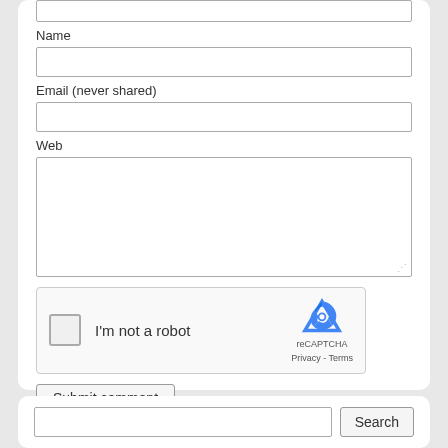Name
Email (never shared)
Web
[Figure (screenshot): reCAPTCHA widget with checkbox and 'I'm not a robot' label, reCAPTCHA logo, Privacy and Terms links]
Submit comment
Search